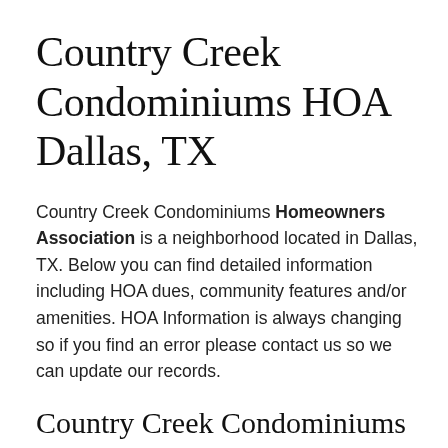Country Creek Condominiums HOA Dallas, TX
Country Creek Condominiums Homeowners Association is a neighborhood located in Dallas, TX. Below you can find detailed information including HOA dues, community features and/or amenities. HOA Information is always changing so if you find an error please contact us so we can update our records.
Country Creek Condominiums Homeowners Associaton